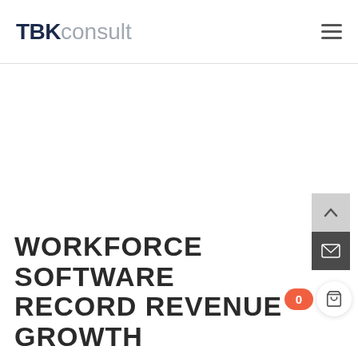TBKconsult
[Figure (logo): TBKconsult logo with TBK in dark navy bold and consult in light gray regular weight]
WORKFORCE SOFTWARE RECORD REVENUE GROWTH